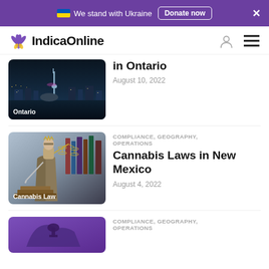We stand with Ukraine | Donate now
[Figure (logo): IndicaOnline logo with cannabis leaf icon]
[Figure (photo): Ontario city skyline at night with CN Tower and Rogers Centre]
in Ontario
August 10, 2022
COMPLIANCE, GEOGRAPHY, OPERATIONS
[Figure (photo): Lady Justice bronze statue holding scales and sword, labeled Cannabis Law]
Cannabis Laws in New Mexico
August 4, 2022
COMPLIANCE, GEOGRAPHY, OPERATIONS
[Figure (photo): Purple illustration of state capitol building silhouette]